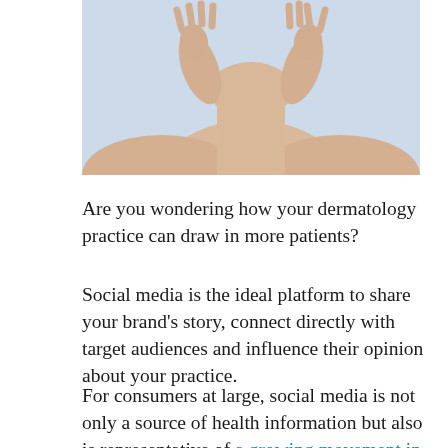[Figure (photo): Woman with hands raised to her face/neck against a light blue background, cropped to show neck and bare shoulders]
Are you wondering how your dermatology practice can draw in more patients?
Social media is the ideal platform to share your brand’s story, connect directly with target audiences and influence their opinion about your practice.
For consumers at large, social media is not only a source of health information but also is representative of a growing movement in healthcare — one where the patient has more control of the conversation...